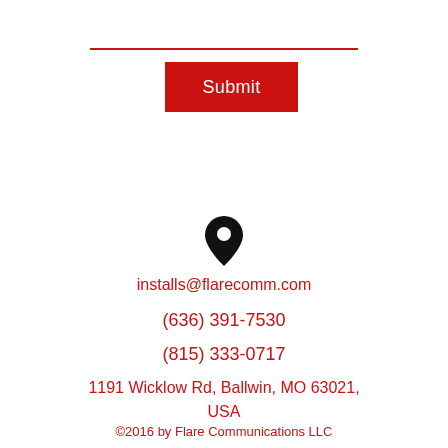[Figure (illustration): Red horizontal divider line across the top portion of the page]
[Figure (illustration): Red 'Submit' button with white text]
[Figure (illustration): Black map pin / location marker icon]
installs@flarecomm.com
(636) 391-7530
(815) 333-0717
1191 Wicklow Rd, Ballwin, MO 63021, USA
©2016 by Flare Communications LLC